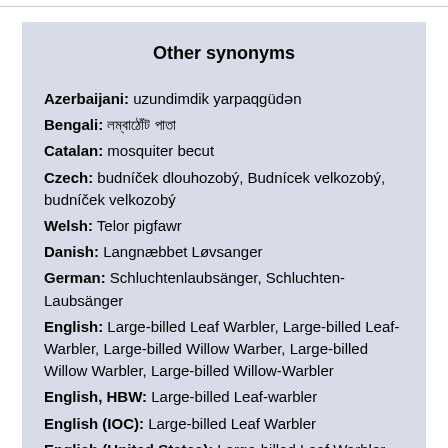Other synonyms
Azerbaijani: uzundimdik yarpaqgüdən
Bengali: লম্বাঠোঁট পাতা
Catalan: mosquiter becut
Czech: budníček dlouhozobý, Budnícek velkozobý, budníček velkozobý
Welsh: Telor pigfawr
Danish: Langnæbbet Løvsanger
German: Schluchtenlaubsänger, Schluchten-Laubsänger
English: Large-billed Leaf Warbler, Large-billed Leaf-Warbler, Large-billed Willow Warber, Large-billed Willow Warbler, Large-billed Willow-Warbler
English, HBW: Large-billed Leaf-warbler
English (IOC): Large-billed Leaf Warbler
English (United States): Large-billed Leaf Warbler